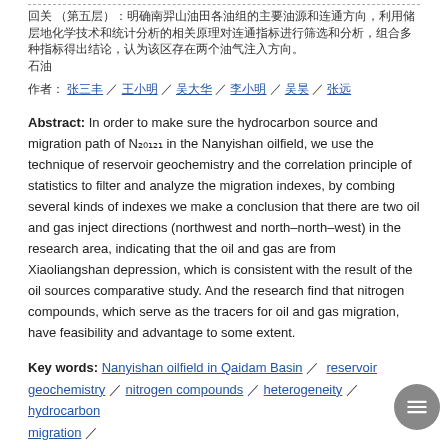Chinese characters text block at top (partial, truncated) describing article metadata
Chinese characters author/citation line
Abstract: In order to make sure the hydrocarbon source and migration path of N₂₀₁₂₁ in the Nanyishan oilfield, we use the technique of reservoir geochemistry and the correlation principle of statistics to filter and analyze the migration indexes, by combing several kinds of indexes we make a conclusion that there are two oil and gas inject directions (northwest and north‒north‒west) in the research area, indicating that the oil and gas are from Xiaoliangshan depression, which is consistent with the result of the oil sources comparative study. And the research find that nitrogen compounds, which serve as the tracers for oil and gas migration, have feasibility and advantage to some extent.
Key words: Nanyishan oilfield in Qaidam Basin / reservoir geochemistry / nitrogen compounds / heterogeneity / hydrocarbon migration /